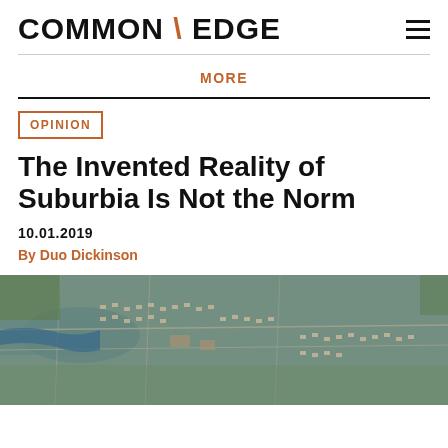COMMON \ EDGE
MORE
OPINION
The Invented Reality of Suburbia Is Not the Norm
10.01.2019
By Duo Dickinson
[Figure (photo): Aerial photograph of suburban sprawl showing residential neighborhoods, roads, and green patches extending to the horizon]